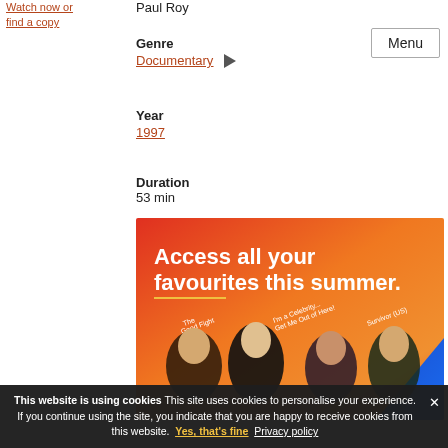Watch now or find a copy
Paul Roy
Menu
Genre
Documentary
Year
1997
Duration
53 min
[Figure (photo): Advertisement banner with gradient background (red to orange to blue). Text reads 'Access all your favourites this summer.' with show labels: The Good Fight, I'm a Celebrity...Get Me Out of Here!, Survivor (US). Features four TV personalities.]
This website is using cookies This site uses cookies to personalise your experience. If you continue using the site, you indicate that you are happy to receive cookies from this website. Yes, that's fine Privacy policy